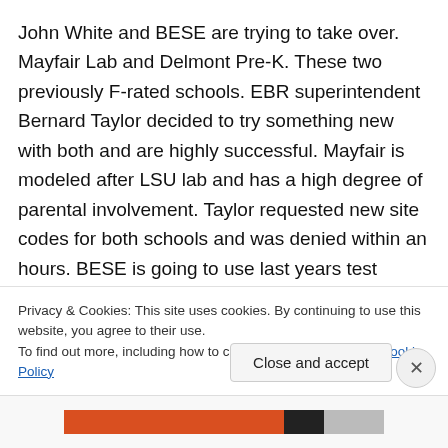John White and BESE are trying to take over. Mayfair Lab and Delmont Pre-K. These two previously F-rated schools. EBR superintendent Bernard Taylor decided to try something new with both and are highly successful. Mayfair is modeled after LSU lab and has a high degree of parental involvement. Taylor requested new site codes for both schools and was denied within an hours. BESE is going to use last years test scores to say that the school is still a failing school. This identifies with your “Politics at its
Privacy & Cookies: This site uses cookies. By continuing to use this website, you agree to their use.
To find out more, including how to control cookies, see here: Cookie Policy